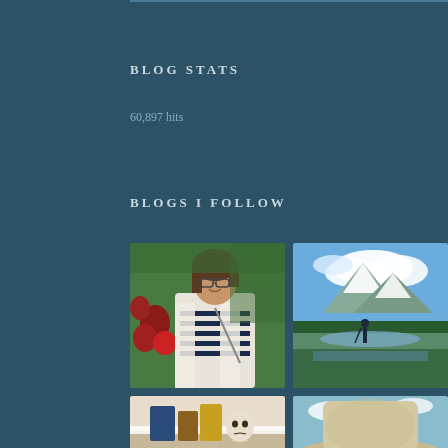BLOG STATS
60,897 hits
BLOGS I FOLLOW
[Figure (photo): Woman with brown hair and glasses wearing a white cardigan and striped top, standing outdoors among red flowers]
[Figure (photo): Person standing in a mountain meadow with a lake, snowy peaks and clouds in background]
[Figure (photo): Partial view of objects on a table, appears to be books or craft items]
[Figure (photo): Person wearing a hat, photo cropped at bottom]